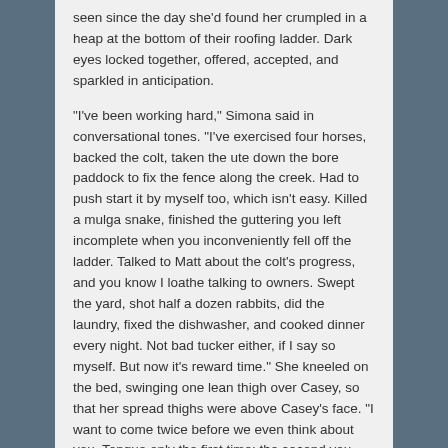seen since the day she'd found her crumpled in a heap at the bottom of their roofing ladder. Dark eyes locked together, offered, accepted, and sparkled in anticipation.
"I've been working hard," Simona said in conversational tones. "I've exercised four horses, backed the colt, taken the ute down the bore paddock to fix the fence along the creek. Had to push start it by myself too, which isn't easy. Killed a mulga snake, finished the guttering you left incomplete when you inconveniently fell off the ladder. Talked to Matt about the colt's progress, and you know I loathe talking to owners. Swept the yard, shot half a dozen rabbits, did the laundry, fixed the dishwasher, and cooked dinner every night. Not bad tucker either, if I say so myself. But now it's reward time." She kneeled on the bed, swinging one lean thigh over Casey, so that her spread thighs were above Casey's face. "I want to come twice before we even think about you. Tongue only the first time; the second you can use fingers or toys as well."